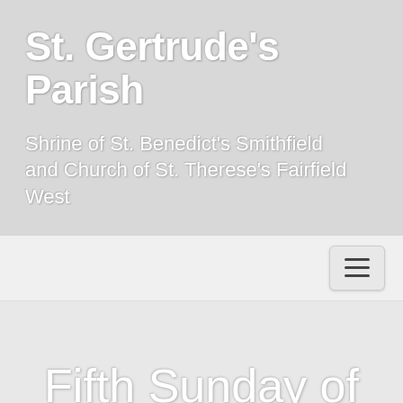St. Gertrude's Parish
Shrine of St. Benedict's Smithfield and Church of St. Therese's Fairfield West
[Figure (other): Navigation bar with hamburger menu button (three horizontal lines icon) aligned to the right]
Fifth Sunday of Easter – Sunday